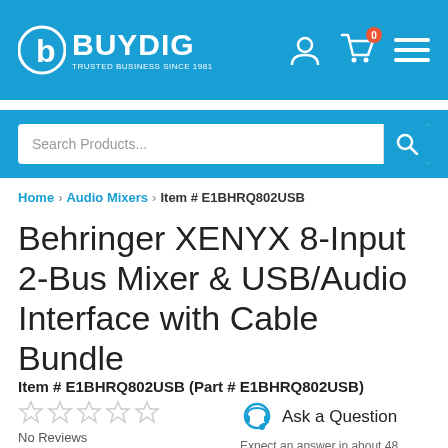[Figure (logo): BuyDig logo - white text on blue background with 'TRUSTED BUSINESS SINCE 1981' tagline]
[Figure (screenshot): Search bar with 'Search Products...' placeholder and blue search button with magnifying glass icon]
Home › Audio Mixers › Item # E1BHRQ802USB
Behringer XENYX 8-Input 2-Bus Mixer & USB/Audio Interface with Cable Bundle
Item # E1BHRQ802USB (Part # E1BHRQ802USB)
No Reviews
Ask a Question
Expect an answer in about 48 hours